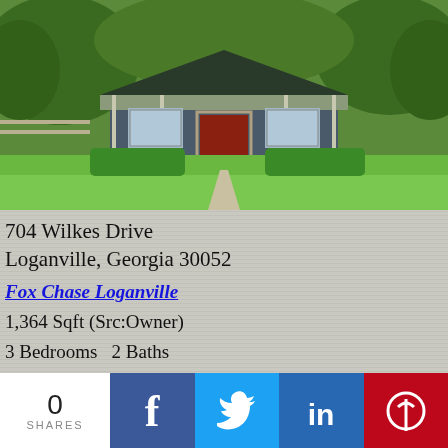[Figure (photo): Exterior photo of a ranch-style house with covered front porch, red door, steps leading up, large lawn with trimmed hedges, and trees in the background]
704 Wilkes Drive
Loganville, Georgia 30052
Fox Chase Loganville
1,364 Sqft (Src:Owner)
3 Bedrooms   2 Baths
Property Details
0
SHARES